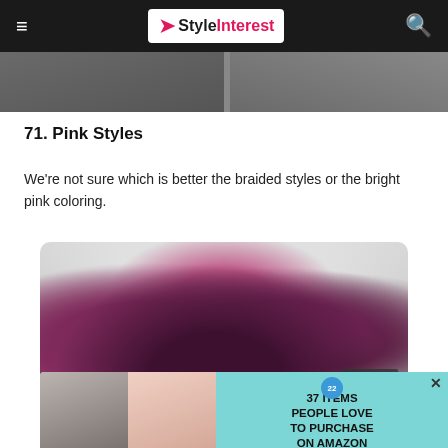StyleInterest
[Figure (photo): Cropped top portion of a photo showing hair styles]
71. Pink Styles
We're not sure which is better the braided styles or the bright pink coloring.
[Figure (photo): Top-down view of braided pink/magenta hair on a light background, with a CLOSE button overlay]
[Figure (photo): Advertisement banner: 37 ITEMS PEOPLE LOVE TO PURCHASE ON AMAZON, with two product photos and a badge showing 22]